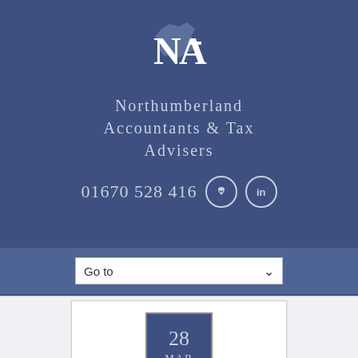[Figure (logo): NATA logo with stylized N and A letters and Northumberland map shape in white on dark blue background]
Northumberland Accountants & Tax Advisers
01670 528 416
[Figure (infographic): Navigation bar with Go to dropdown select element]
[Figure (infographic): Date badge showing 28 Mar on blue background]